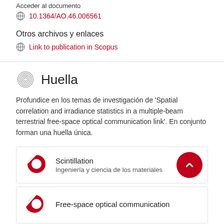Acceder al documento
10.1364/AO.46.006561
Otros archivos y enlaces
Link to publication in Scopus
Huella
Profundice en los temas de investigación de 'Spatial correlation and irradiance statistics in a multiple-beam terrestrial free-space optical communication link'. En conjunto forman una huella única.
Scintillation
Ingeniería y ciencia de los materiales
Free-space optical communication